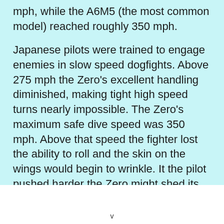mph, while the A6M5 (the most common model) reached roughly 350 mph.
Japanese pilots were trained to engage enemies in slow speed dogfights. Above 275 mph the Zero's excellent handling diminished, making tight high speed turns nearly impossible. The Zero's maximum safe dive speed was 350 mph. Above that speed the fighter lost the ability to roll and the skin on the wings would begin to wrinkle. It the pilot pushed harder the Zero might shed its wings.
The Zeke's roll rate at any speed was slower then all U.S.
v